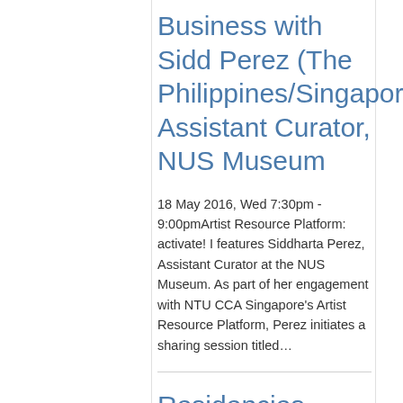Business with Sidd Perez (The Philippines/Singapore), Assistant Curator, NUS Museum
18 May 2016, Wed 7:30pm - 9:00pmArtist Resource Platform: activate! I features Siddharta Perez, Assistant Curator at the NUS Museum. As part of her engagement with NTU CCA Singapore's Artist Resource Platform, Perez initiates a sharing session titled…
Residencies Insights: Circuits of labour, Gary Ross Pastrana in